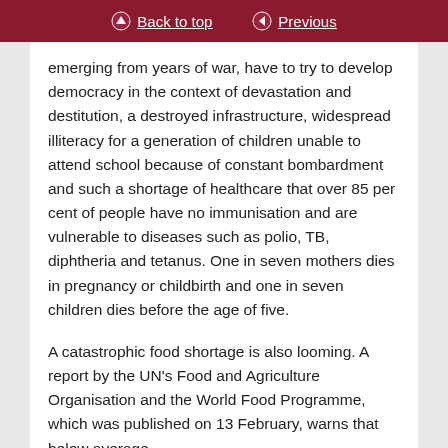Back to top | Previous
emerging from years of war, have to try to develop democracy in the context of devastation and destitution, a destroyed infrastructure, widespread illiteracy for a generation of children unable to attend school because of constant bombardment and such a shortage of healthcare that over 85 per cent of people have no immunisation and are vulnerable to diseases such as polio, TB, diphtheria and tetanus. One in seven mothers dies in pregnancy or childbirth and one in seven children dies before the age of five.
A catastrophic food shortage is also looming. A report by the UN's Food and Agriculture Organisation and the World Food Programme, which was published on 13 February, warns that below average